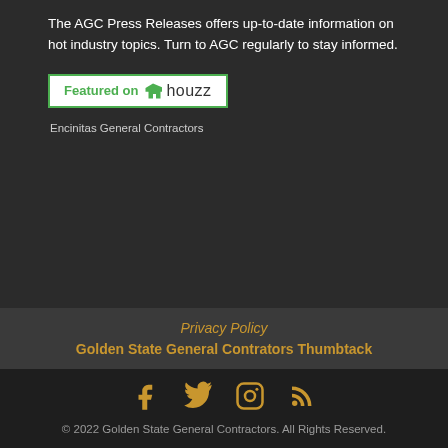The AGC Press Releases offers up-to-date information on hot industry topics. Turn to AGC regularly to stay informed.
[Figure (logo): Featured on Houzz badge — white rectangle with green border, green text 'Featured on' and black text 'houzz' with house icon]
Encinitas General Contractors
Privacy Policy
Golden State General Contrators Thumbtack
[Figure (other): Social media icons row: Facebook, Twitter, Instagram, RSS — all in gold/amber color]
© 2022 Golden State General Contractors. All Rights Reserved.